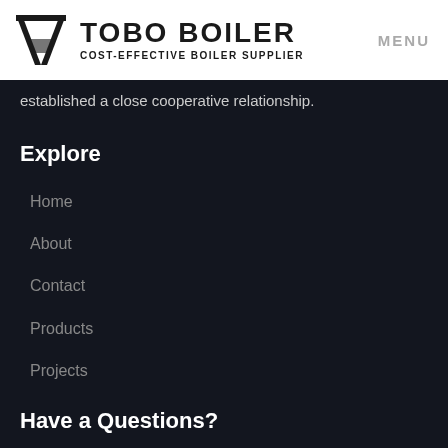TOBO BOILER COST-EFFECTIVE BOILER SUPPLIER | MENU
established a close cooperative relationship.
Explore
Home
About
Contact
Products
Projects
Have a Questions?